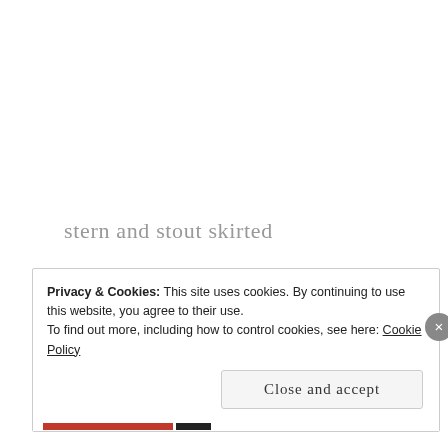stern and stout skirted
breaking ground and convention
setting down roots
of farm and family
Privacy & Cookies: This site uses cookies. By continuing to use this website, you agree to their use. To find out more, including how to control cookies, see here: Cookie Policy
Close and accept